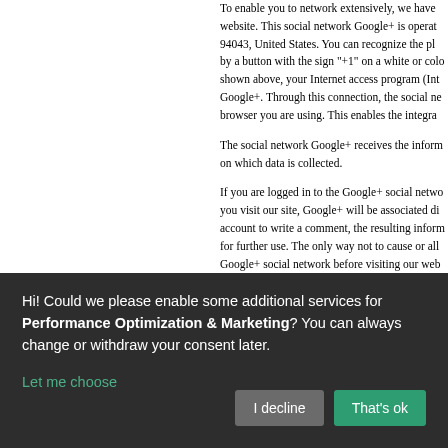To enable you to network extensively, we have integrated the social network Google+ on our website. This social network Google+ is operated by Google Inc., 1600 Amphitheatre Parkway, Mountain View, CA 94043, United States. You can recognize the plug-in of the social network Google+ by a button with the sign "+1" on a white or colored background. When you call up a page of our website that is shown above, your Internet access program (Internet browser) establishes a connection to the servers of Google+. Through this connection, the social network Google+ receives the information of which page of our website browser you are using. This enables the integration of content and functions of the social network.
The social network Google+ receives the information that you have called up our website on which data is collected.
If you are logged in to the Google+ social network when you visit our website, every time you visit our site, Google+ will be associated directly with your profile. If you use your Google+ account to write a comment, the resulting information is also transmitted to Google+ and stored there for further use. The only way not to cause or allow this transfer of data is to log out of the Google+ social network before visiting our website.
When the social network Google+ collects the data, for what purpose these data are collected and used and which rights and possibilities are available to you to protect your privacy in this regard, you can find out in the data protection information of Google+, which can be found at https://developers.google.com/+/web/buttons-policy.
8.3 Links to Facebook
Hi! Could we please enable some additional services for Performance Optimization & Marketing? You can always change or withdraw your consent later.
Let me choose
I decline
That's ok